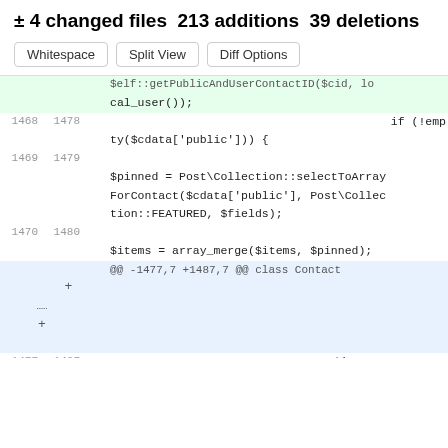± 4 changed files 213 additions 39 deletions
[Figure (screenshot): Three buttons: Whitespace, Split View, Diff Options]
[Figure (screenshot): Code diff view showing PHP code changes around lines 1468-1480, with green added lines, blue hunk header, and red deleted line]